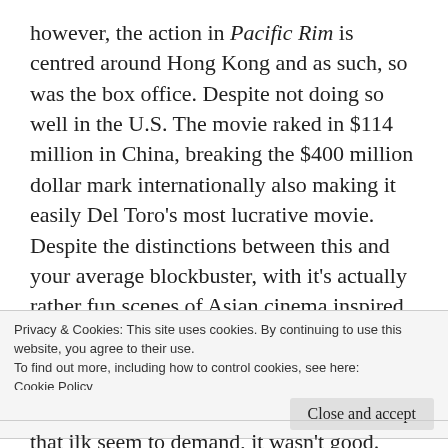however, the action in Pacific Rim is centred around Hong Kong and as such, so was the box office. Despite not doing so well in the U.S. The movie raked in $114 million in China, breaking the $400 million dollar mark internationally also making it easily Del Toro's most lucrative movie. Despite the distinctions between this and your average blockbuster, with it's actually rather fun scenes of Asian cinema inspired Godzilla like alien sea creatures and giant Transformer like robots battling it out, everyone knew Guillermo had left his
Privacy & Cookies: This site uses cookies. By continuing to use this website, you agree to their use.
To find out more, including how to control cookies, see here: Cookie Policy
Close and accept
that ilk seem to demand, it wasn't good. Fast